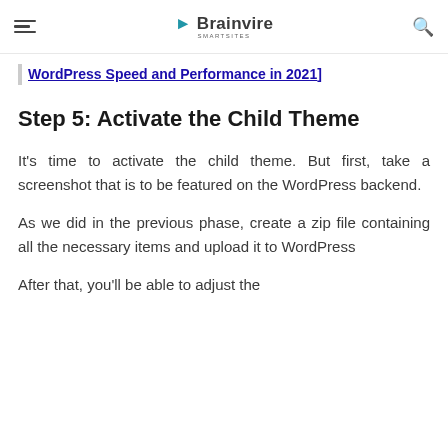Brainvire
WordPress Speed and Performance in 2021]
Step 5: Activate the Child Theme
It's time to activate the child theme. But first, take a screenshot that is to be featured on the WordPress backend.
As we did in the previous phase, create a zip file containing all the necessary items and upload it to WordPress
After that, you'll be able to adjust the